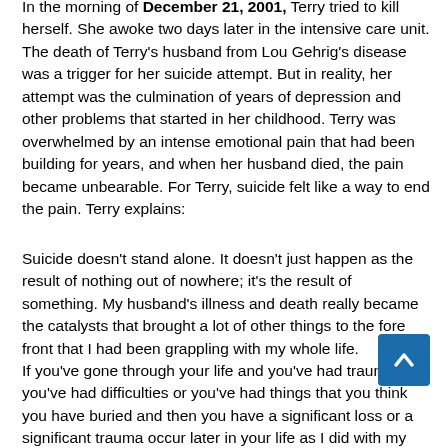In the morning of December 21, 2001, Terry tried to kill herself. She awoke two days later in the intensive care unit. The death of Terry's husband from Lou Gehrig's disease was a trigger for her suicide attempt. But in reality, her attempt was the culmination of years of depression and other problems that started in her childhood. Terry was overwhelmed by an intense emotional pain that had been building for years, and when her husband died, the pain became unbearable. For Terry, suicide felt like a way to end the pain. Terry explains:
Suicide doesn't stand alone. It doesn't just happen as the result of nothing out of nowhere; it's the result of something. My husband's illness and death really became the catalysts that brought a lot of other things to the fore front that I had been grappling with my whole life.
If you've gone through your life and you've had traumas, or you've had difficulties or you've had things that you think you have buried and then you have a significant loss or a significant trauma occur later in your life as I did with my husband dying, all the things that have been on simmer in your